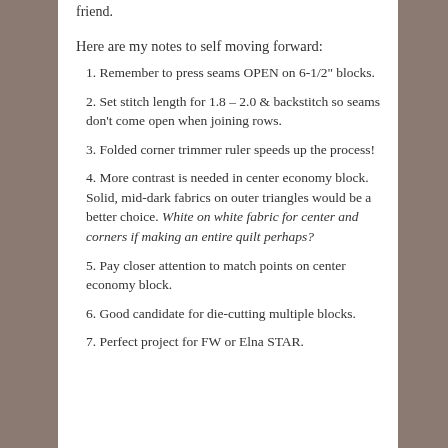friend.
Here are my notes to self moving forward:
1. Remember to press seams OPEN on 6-1/2" blocks.
2. Set stitch length for 1.8 – 2.0 & backstitch so seams don't come open when joining rows.
3. Folded corner trimmer ruler speeds up the process!
4. More contrast is needed in center economy block. Solid, mid-dark fabrics on outer triangles would be a better choice. White on white fabric for center and corners if making an entire quilt perhaps?
5. Pay closer attention to match points on center economy block.
6. Good candidate for die-cutting multiple blocks.
7. Perfect project for FW or Elna STAR.